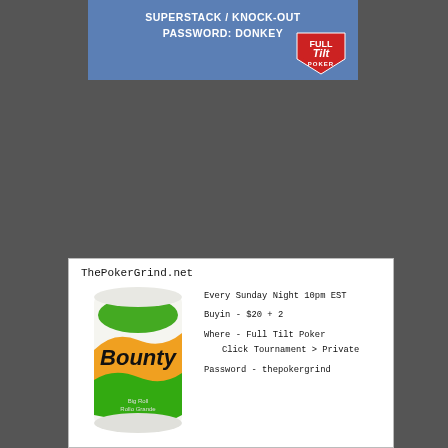[Figure (infographic): Full Tilt Poker banner with blue background showing 'SUPERSTACK / KNOCK-OUT PASSWORD: DONKEY' text and Full Tilt Poker logo]
[Figure (infographic): White card with ThePokerGrind.net header, Bounty paper towel roll image, and poker tournament details: Every Sunday Night 10pm EST, Buyin - $20 + 2, Where - Full Tilt Poker, Click Tournament > Private, Password - thepokergrind]